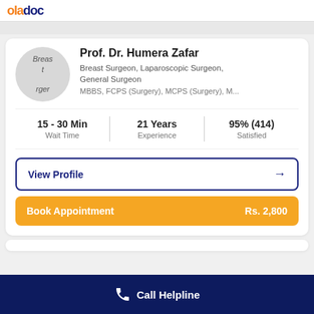oladoc
Prof. Dr. Humera Zafar — Breast Surgeon, Laparoscopic Surgeon, General Surgeon — MBBS, FCPS (Surgery), MCPS (Surgery), M...
15 - 30 Min Wait Time | 21 Years Experience | 95% (414) Satisfied
View Profile →
Book Appointment   Rs. 2,800
Call Helpline